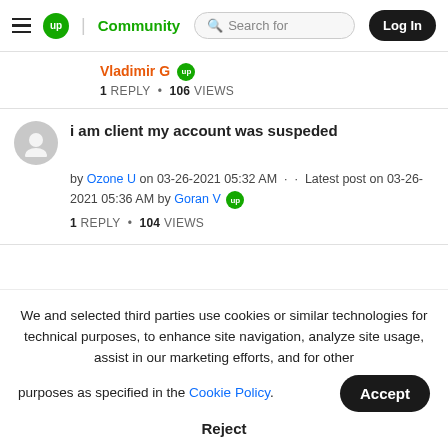up Community | Search for | Log In
Vladimir G  1 REPLY • 106 VIEWS
i am client my account was suspeded
by Ozone U on 03-26-2021 05:32 AM · · Latest post on 03-26-2021 05:36 AM by Goran V  1 REPLY • 104 VIEWS
We and selected third parties use cookies or similar technologies for technical purposes, to enhance site navigation, analyze site usage, assist in our marketing efforts, and for other purposes as specified in the Cookie Policy. Accept Reject